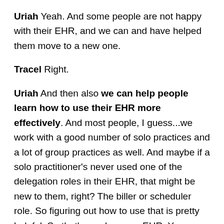Uriah Yeah. And some people are not happy with their EHR, and we can and have helped them move to a new one.
Tracel Right.
Uriah And then also we can help people learn how to use their EHR more effectively. And most people, I guess...we work with a good number of solo practices and a lot of group practices as well. And maybe if a solo practitioner's never used one of the delegation roles in their EHR, that might be new to them, right? The biller or scheduler role. So figuring out how to use that is pretty helpful. So that's number one: EHR. You probably already have